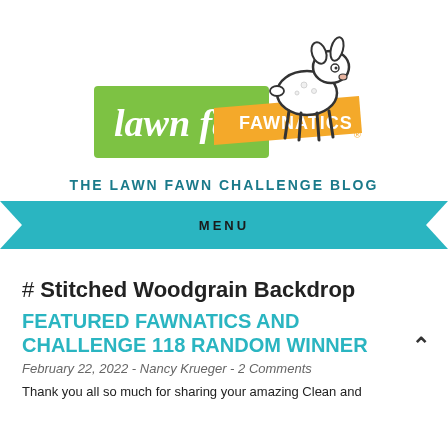[Figure (logo): Lawn Fawnatics logo: green rectangle with 'lawn fawn' in white script, orange ribbon banner with 'FAWNATICS' in white, and a cartoon deer fawn above]
THE LAWN FAWN CHALLENGE BLOG
MENU
# Stitched Woodgrain Backdrop
FEATURED FAWNATICS AND CHALLENGE 118 RANDOM WINNER
February 22, 2022 - Nancy Krueger - 2 Comments
Thank you all so much for sharing your amazing Clean and